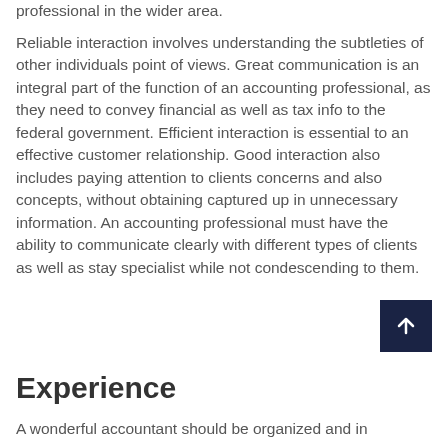professional in the wider area.
Reliable interaction involves understanding the subtleties of other individuals point of views. Great communication is an integral part of the function of an accounting professional, as they need to convey financial as well as tax info to the federal government. Efficient interaction is essential to an effective customer relationship. Good interaction also includes paying attention to clients concerns and also concepts, without obtaining captured up in unnecessary information. An accounting professional must have the ability to communicate clearly with different types of clients as well as stay specialist while not condescending to them.
Experience
A wonderful accountant should be organized and in